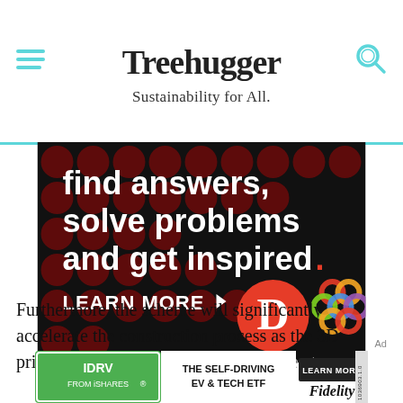Treehugger
Sustainability for All.
[Figure (screenshot): Advertisement banner on black background with dark red dot pattern. Text reads 'find answers, solve problems and get inspired.' with 'LEARN MORE' button and logos for 'D' (Dictionary.com in red circle) and a colorful interlocked rings logo.]
Furthermore, the scheme will significantly accelerate the construction process as the 3D printer will produce the entire structure at once
[Figure (screenshot): Fidelity advertisement banner: 'IDRV FROM iSHARES.' on green background, 'THE SELF-DRIVING EV & TECH ETF', 'LEARN MORE' button, Fidelity logo.]